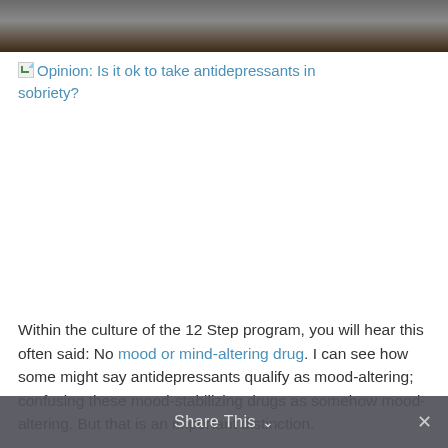[Figure (photo): Dark photograph of a surface, shown as a banner at the top of the page]
Opinion: Is it ok to take antidepressants in sobriety?
Within the culture of the 12 Step program, you will hear this often said: No mood or mind-altering drug. I can see how some might say antidepressants qualify as mood-altering; confusing these mood-stabilizing drugs as somehow mood-altering. But that is an important distinction.
I do not consider antidepressants breaking sobriety. And this,